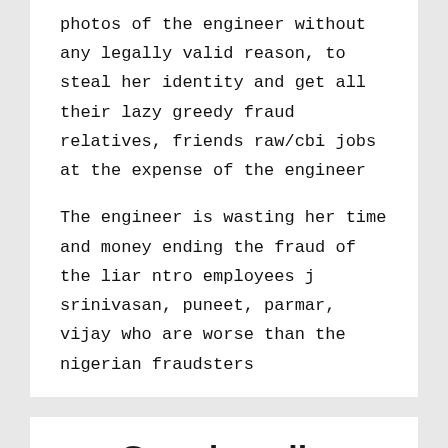photos of the engineer without any legally valid reason, to steal her identity and get all their lazy greedy fraud relatives, friends raw/cbi jobs at the expense of the engineer

The engineer is wasting her time and money ending the fraud of the liar ntro employees j srinivasan, puneet, parmar, vijay who are worse than the nigerian fraudsters
Greedy gujju fraudster family in goa of school dropout cbi employee naina